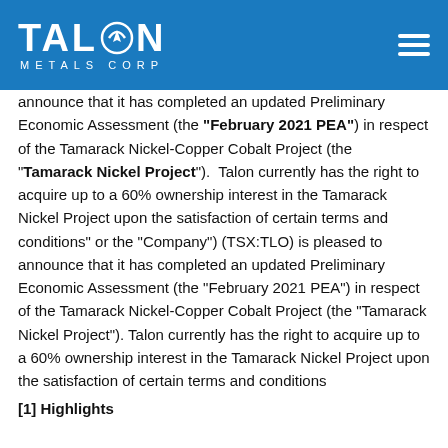[Figure (logo): Talon Metals Corp logo with blue background and hamburger menu icon]
announce that it has completed an updated Preliminary Economic Assessment (the "February 2021 PEA") in respect of the Tamarack Nickel-Copper Cobalt Project (the "Tamarack Nickel Project"). Talon currently has the right to acquire up to a 60% ownership interest in the Tamarack Nickel Project upon the satisfaction of certain terms and conditions" or the "Company") (TSX:TLO) is pleased to announce that it has completed an updated Preliminary Economic Assessment (the "February 2021 PEA") in respect of the Tamarack Nickel-Copper Cobalt Project (the "Tamarack Nickel Project"). Talon currently has the right to acquire up to a 60% ownership interest in the Tamarack Nickel Project upon the satisfaction of certain terms and conditions
[1] Highlights